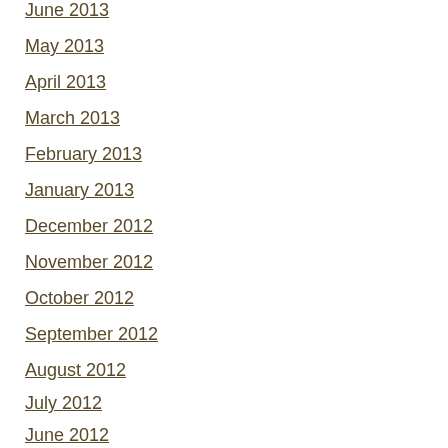June 2013
May 2013
April 2013
March 2013
February 2013
January 2013
December 2012
November 2012
October 2012
September 2012
August 2012
July 2012
June 2012
May 2012
CATEGORIES
art